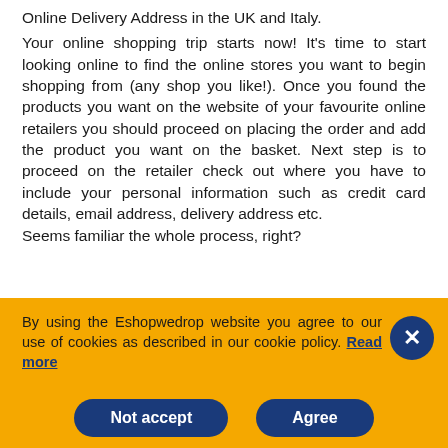Online Delivery Address in the UK and Italy.
Your online shopping trip starts now! It's time to start looking online to find the online stores you want to begin shopping from (any shop you like!). Once you found the products you want on the website of your favourite online retailers you should proceed on placing the order and add the product you want on the basket. Next step is to proceed on the retailer check out where you have to include your personal information such as credit card details, email address, delivery address etc. Seems familiar the whole process, right?
By using the Eshopwedrop website you agree to our use of cookies as described in our cookie policy. Read more